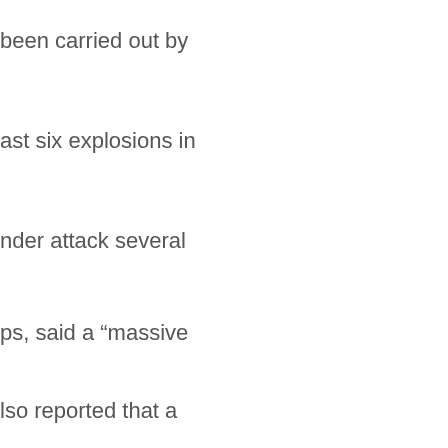been carried out by
ast six explosions in
nder attack several
ps, said a “massive
lso reported that a
attacks.
ad activated the C-